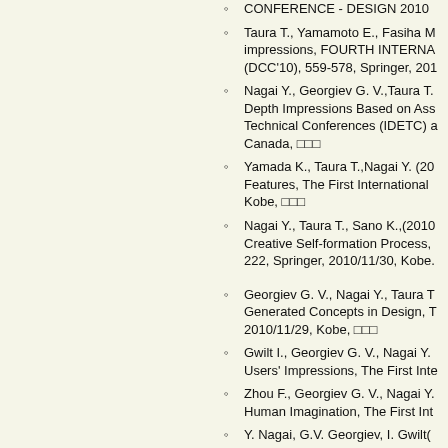CONFERENCE - DESIGN 2010
Taura T., Yamamoto E., Fasiha M... impressions, FOURTH INTERNA... (DCC'10), 559-578, Springer, 201...
Nagai Y., Georgiev G. V.,Taura T.... Depth Impressions Based on Ass... Technical Conferences (IDETC) a... Canada, □□□
Yamada K., Taura T.,Nagai Y. (20... Features, The First International... Kobe, □□□
Nagai Y., Taura T., Sano K.,(2010... Creative Self-formation Process,... 222, Springer, 2010/11/30, Kobe...
Georgiev G. V., Nagai Y., Taura T... Generated Concepts in Design, T... 2010/11/29, Kobe, □□□
Gwilt I., Georgiev G. V., Nagai Y.... Users' Impressions, The First Inte...
Zhou F., Georgiev G. V., Nagai Y.... Human Imagination, The First Int...
Y. Nagai, G.V. Georgiev, I. Gwilt(... International Conference on Rese...